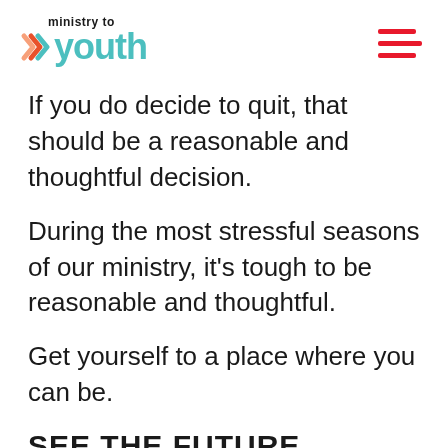ministry to youth
If you do decide to quit, that should be a reasonable and thoughtful decision.
During the most stressful seasons of our ministry, it's tough to be reasonable and thoughtful.
Get yourself to a place where you can be.
SEE THE FUTURE